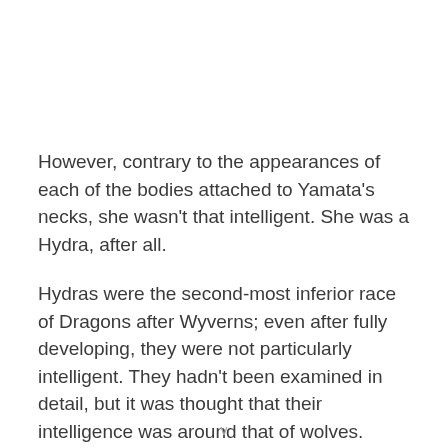However, contrary to the appearances of each of the bodies attached to Yamata's necks, she wasn't that intelligent. She was a Hydra, after all.
Hydras were the second-most inferior race of Dragons after Wyverns; even after fully developing, they were not particularly intelligent. They hadn't been examined in detail, but it was thought that their intelligence was around that of wolves.
But as a result of Vandalieu's 'surgery,' the leveling she had done in her spare time and her daily training (animal training?), she had become able to understand words about as well as a young child.
v